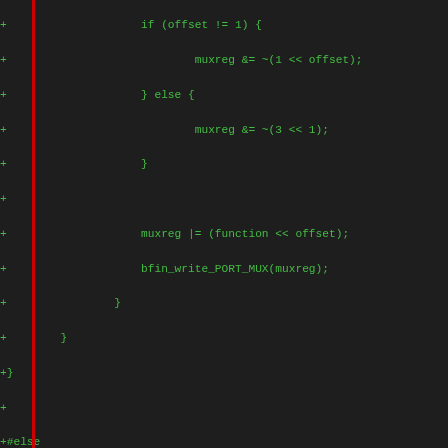[Figure (screenshot): Source code diff showing C code for GPIO/port mux setup on Blackfin processor. Green lines are additions (+), red lines are deletions (-), purple line is a diff hunk header (@@). Context lines in white/gray. Code includes if/else blocks, muxreg operations, bfin_write_PORT_MUX, portmux_setup macro definition, and bfin_gpio_init function with int i, printk, for loop, reserved_map, str_ident, kzalloc calls.]